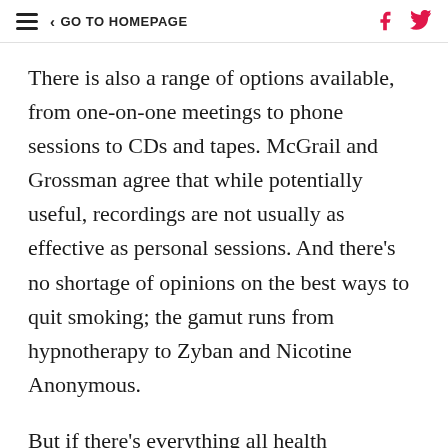≡  < GO TO HOMEPAGE
There is also a range of options available, from one-on-one meetings to phone sessions to CDs and tapes. McGrail and Grossman agree that while potentially useful, recordings are not usually as effective as personal sessions. And there's no shortage of opinions on the best ways to quit smoking; the gamut runs from hypnotherapy to Zyban and Nicotine Anonymous.
But if there's everything all health professionals agree on, it's this: put down the smokes, any way you can, no matter how silly you feel about being hypnotized or obsessively chewing Juicy Fruit or starting talk therapy with a counselor. Don't feel foolish if you start describing yourself as "smoker" as some NicA